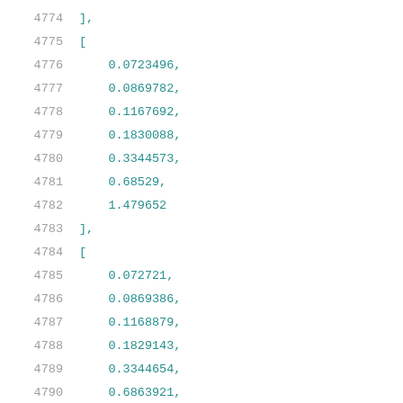4774    ],
4775    [
4776        0.0723496,
4777        0.0869782,
4778        0.1167692,
4779        0.1830088,
4780        0.3344573,
4781        0.68529,
4782        1.479652
4783    ],
4784    [
4785        0.072721,
4786        0.0869386,
4787        0.1168879,
4788        0.1829143,
4789        0.3344654,
4790        0.6863921,
4791        1.4818828
4792    ],
4793    [
4794        0.0730262,